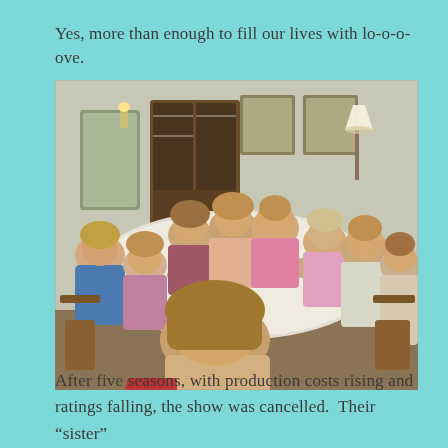Yes, more than enough to fill our lives with lo-o-o-ove.
[Figure (photo): A large family gathered around a dining table for a meal, set in a vintage-style dining room with floral wallpaper, framed pictures on the wall, and a china cabinet in the background. Multiple people of various ages are seated around the table which is filled with food dishes.]
After five seasons, with production costs rising and ratings falling, the show was cancelled.  Their "sister"